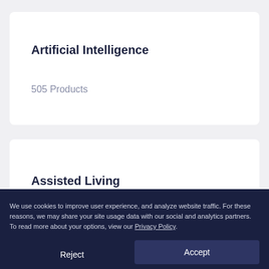Artificial Intelligence
505 Products
Assisted Living
We use cookies to improve user experience, and analyze website traffic. For these reasons, we may share your site usage data with our social and analytics partners. To read more about your options, view our Privacy Policy.